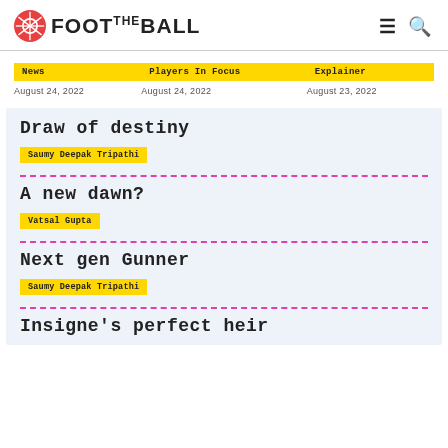FOOT THE BALL
News | August 24, 2022
Players In Focus | August 24, 2022
Explainer | August 23, 2022
Draw of destiny
Saumy Deepak Tripathi
A new dawn?
Vatsal Gupta
Next gen Gunner
Saumy Deepak Tripathi
Insigne's perfect heir